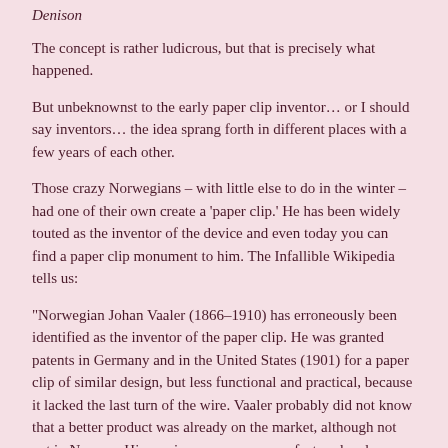Denison
The concept is rather ludicrous, but that is precisely what happened.
But unbeknownst to the early paper clip inventor… or I should say inventors… the idea sprang forth in different places with a few years of each other.
Those crazy Norwegians – with little else to do in the winter – had one of their own create a 'paper clip.' He has been widely touted as the inventor of the device and even today you can find a paper clip monument to him. The Infallible Wikipedia tells us:
“Norwegian Johan Vaaler (1866–1910) has erroneously been identified as the inventor of the paper clip. He was granted patents in Germany and in the United States (1901) for a paper clip of similar design, but less functional and practical, because it lacked the last turn of the wire. Vaaler probably did not know that a better product was already on the market, although not yet in Norway. His version was never manufactured and never marketed, because the superior Gem was already available.